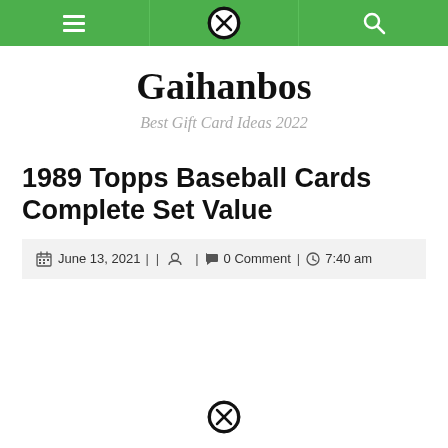Navigation bar with hamburger menu, close button, and search icon
Gaihanbos
Best Gift Card Ideas 2022
1989 Topps Baseball Cards Complete Set Value
June 13, 2021  |  |     |    0 Comment  |   7:40 am